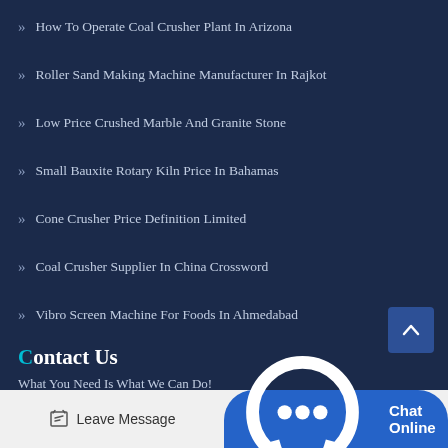How To Operate Coal Crusher Plant In Arizona
Roller Sand Making Machine Manufacturer In Rajkot
Low Price Crushed Marble And Granite Stone
Small Bauxite Rotary Kiln Price In Bahamas
Cone Crusher Price Definition Limited
Coal Crusher Supplier In China Crossword
Vibro Screen Machine For Foods In Ahmedabad
Contact Us
What You Need Is What We Can Do!
Leave Message
Chat Online